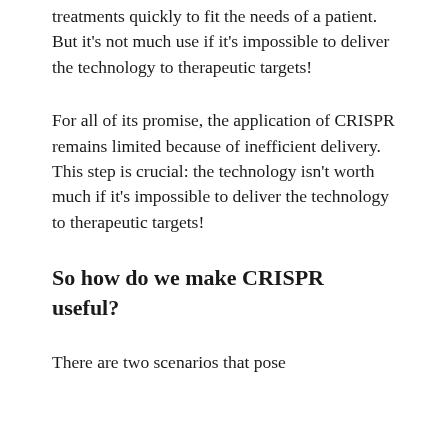treatments quickly to fit the needs of a patient. But it's not much use if it's impossible to deliver the technology to therapeutic targets!
For all of its promise, the application of CRISPR remains limited because of inefficient delivery. This step is crucial: the technology isn't worth much if it's impossible to deliver the technology to therapeutic targets!
So how do we make CRISPR useful?
There are two scenarios that pose